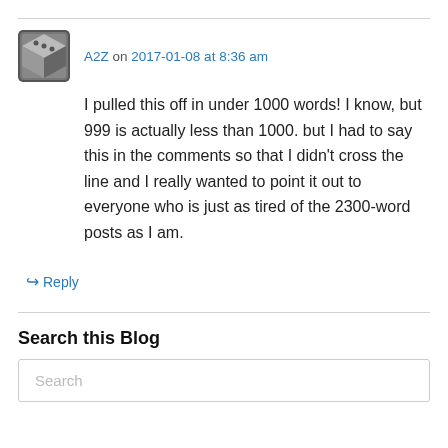A2Z on 2017-01-08 at 8:36 am
I pulled this off in under 1000 words! I know, but 999 is actually less than 1000. but I had to say this in the comments so that I didn't cross the line and I really wanted to point it out to everyone who is just as tired of the 2300-word posts as I am.
↳ Reply
Search this Blog